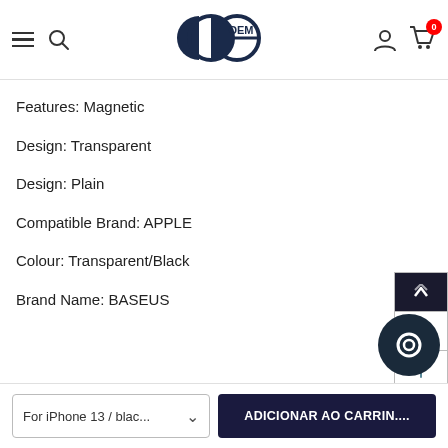GC OEM — navigation header with logo, search, cart (0)
Features: Magnetic
Design: Transparent
Design: Plain
Compatible Brand: APPLE
Colour: Transparent/Black
Brand Name: BASEUS
For iPhone 13 / blac... ▾  ADICIONAR AO CARRIN....